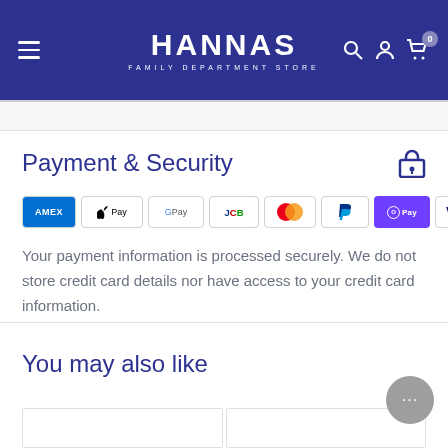HANNAS FAMILY DEPARTMENT STORE
Payment & Security
[Figure (logo): Payment method logos: American Express, Apple Pay, Google Pay, JCB, Mastercard, PayPal, Shop Pay, Visa]
Your payment information is processed securely. We do not store credit card details nor have access to your credit card information.
You may also like